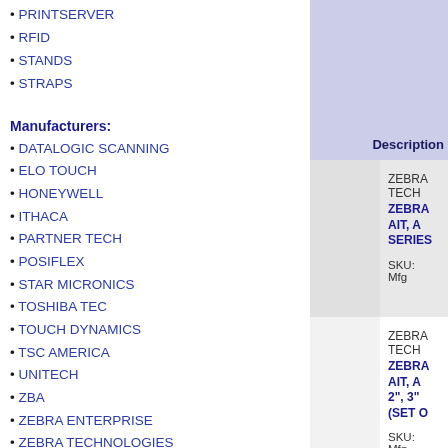PRINTSERVER
RFID
STANDS
STRAPS
Manufacturers:
DATALOGIC SCANNING
ELO TOUCH
HONEYWELL
ITHACA
PARTNER TECH
POSIFLEX
STAR MICRONICS
TOSHIBA TEC
TOUCH DYNAMICS
TSC AMERICA
UNITECH
ZBA
ZEBRA ENTERPRISE
ZEBRA TECHNOLOGIES
|  | Description |
| --- | --- |
|  | ZEBRA TECH
ZEBRA AIT, A SERIES
SKU: Mfg |
|  | ZEBRA TECH
ZEBRA AIT, A 2", 3" (SET O
SKU: Mfg |
|  | ZEBRA TECH
ZEBRA AIT, A
SKU: Mfg |